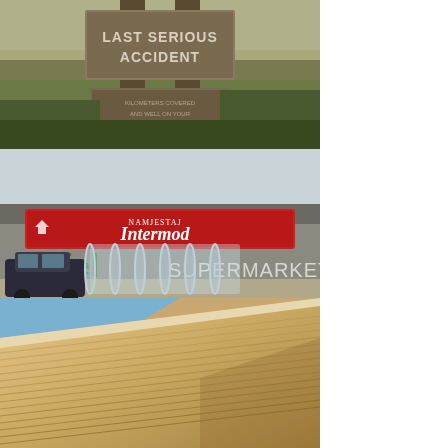[Figure (photo): Outdoor sign reading 'LAST SERIOUS ACCIDENT' with additional text below, surrounded by overgrown vegetation in a field setting.]
[Figure (photo): Exterior of a building with two signs: a red banner reading 'NAMJESTAJ Intermod' and large lettering below reading 'apfel SUPERMARKET'. A dark car is parked in front of a transparent tunnel-like cart storage structure.]
[Figure (photo): Close-up photograph of sand dunes showing rippled texture patterns. Sky is visible at the top left corner.]